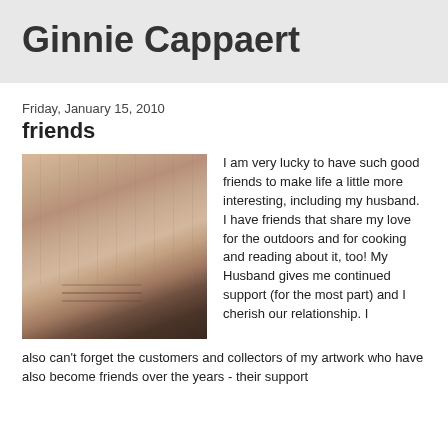Ginnie Cappaert
Friday, January 15, 2010
friends
[Figure (photo): A photograph showing a textured stone or rock wall surface with reddish-tan coloring in the upper portion and darker brown/black tones at the bottom.]
I am very lucky to have such good friends to make life a little more interesting, including my husband. I have friends that share my love for the outdoors and for cooking and reading about it, too! My Husband gives me continued support (for the most part) and I cherish our relationship. I also can't forget the customers and collectors of my artwork who have also become friends over the years - their support